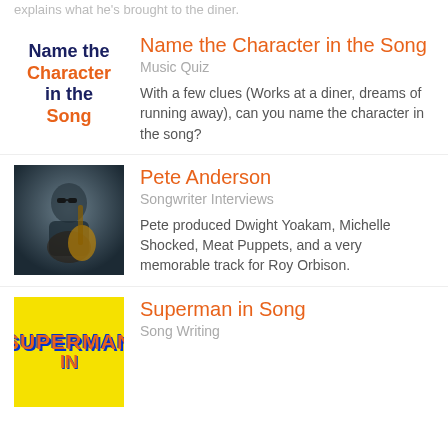explains what he's brought to the diner.
[Figure (illustration): Text-based thumbnail reading 'Name the Character in the Song' in navy and orange bold text]
Name the Character in the Song
Music Quiz
With a few clues (Works at a diner, dreams of running away), can you name the character in the song?
[Figure (photo): Photo of Pete Anderson, a man with sunglasses playing a hollow-body guitar, against a grey background]
Pete Anderson
Songwriter Interviews
Pete produced Dwight Yoakam, Michelle Shocked, Meat Puppets, and a very memorable track for Roy Orbison.
[Figure (illustration): Yellow background thumbnail with Superman in Song text in orange and blue styling]
Superman in Song
Song Writing